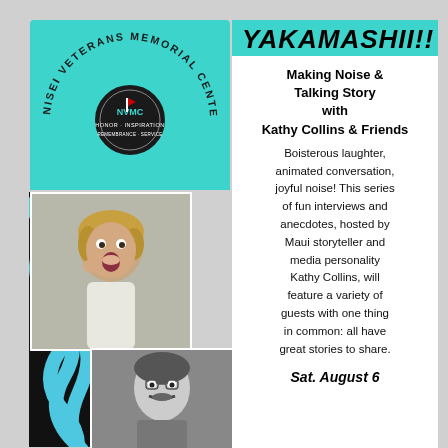[Figure (logo): Nisei Veterans Memorial Center circular logo with text arc around it]
[Figure (photo): Photo of woman with short blonde hair, mouth open in surprise/excitement, wearing white top]
[Figure (photo): Black and white photo of man with mustache]
YAKAMASHII!!
Making Noise & Talking Story with Kathy Collins & Friends
Boisterous laughter, animated conversation, joyful noise! This series of fun interviews and anecdotes, hosted by Maui storyteller and media personality Kathy Collins, will feature a variety of guests with one thing in common: all have great stories to share.
Sat. August 6